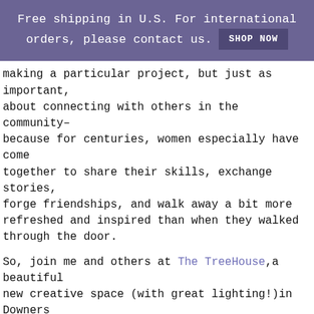Free shipping in U.S. For international orders, please contact us. SHOP NOW
making a particular project, but just as important, about connecting with others in the community– because for centuries, women especially have come together to share their skills, exchange stories, forge friendships, and walk away a bit more refreshed and inspired than when they walked through the door.
So, join me and others at The TreeHouse,a beautiful new creative space (with great lighting!)in Downers Grove, Illinois, for the first Craft Sessions class – Understory, an embroidery class suitable for beginners and experienced stitchers.
In the class, here's what we will learn: